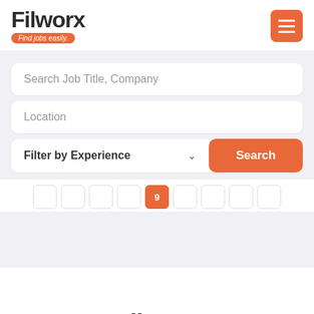[Figure (logo): Filworx logo with 'Find jobs easily.' tagline badge in orange]
[Figure (other): Orange hamburger menu button with three white lines]
Search Job Title, Company
Location
Filter by Experience
Search
9
[Figure (logo): Filworx footer logo with 'Find jobs easily.' tagline badge in orange]